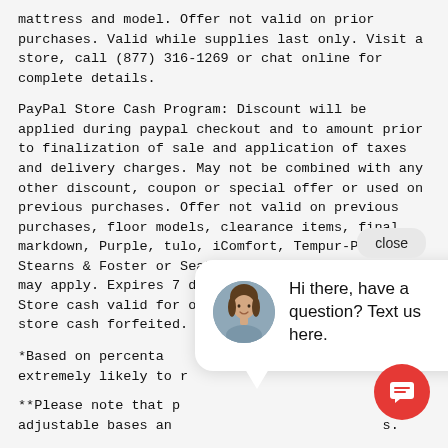mattress and model. Offer not valid on prior purchases. Valid while supplies last only. Visit a store, call (877) 316-1269 or chat online for complete details.
PayPal Store Cash Program: Discount will be applied during paypal checkout and to amount prior to finalization of sale and application of taxes and delivery charges. May not be combined with any other discount, coupon or special offer or used on previous purchases. Offer not valid on previous purchases, floor models, clearance items, final markdown, Purple, tulo, iComfort, Tempur-Pedic, Stearns & Foster or Sealy Hybrid. Other exclusions may apply. Expires 7 days from date of purchase. Store cash valid for one-time redemption; unused store cash forfeited.
*Based on percenta[ge]... extremely likely to r[ecommend]...
**Please note that p[rices]... adjustable bases an[d]... [details].
‡No interest will be charged on the promo balance (including [tax and] delivery) if you pay it off, in full, within the promo period. If y[ou do not,] interest will be charged on the promo balance from the purch[ase date]. The required minimum monthly payments may or may not pay off the promo balance before the end of the promo period, depending on
[Figure (screenshot): Chat widget overlay with avatar of a woman and text 'Hi there, have a question? Text us here.' with a close button and red chat FAB button.]